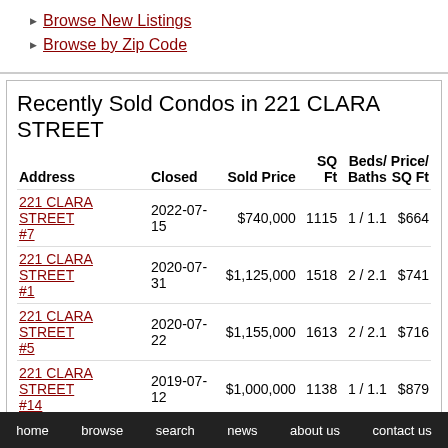Browse New Listings
Browse by Zip Code
Recently Sold Condos in 221 CLARA STREET
| Address | Closed | Sold Price | SQ Ft | Beds/ Baths | Price/ SQ Ft |
| --- | --- | --- | --- | --- | --- |
| 221 CLARA STREET #7 | 2022-07-15 | $740,000 | 1115 | 1 / 1.1 | $664 |
| 221 CLARA STREET #1 | 2020-07-31 | $1,125,000 | 1518 | 2 / 2.1 | $741 |
| 221 CLARA STREET #5 | 2020-07-22 | $1,155,000 | 1613 | 2 / 2.1 | $716 |
| 221 CLARA STREET #14 | 2019-07-12 | $1,000,000 | 1138 | 1 / 1.1 | $879 |
| 221 CLARA STREET | 2019-01- | $930,000 | 1118 | 1 / 1.1 | $836 |
home   browse   search   news   about us   contact us